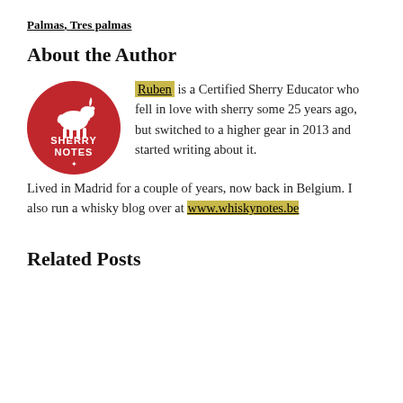Palmas, Tres palmas
About the Author
[Figure (logo): Sherry Notes circular logo with red background, white goat silhouette, and text SHERRY NOTES]
Ruben is a Certified Sherry Educator who fell in love with sherry some 25 years ago, but switched to a higher gear in 2013 and started writing about it. Lived in Madrid for a couple of years, now back in Belgium. I also run a whisky blog over at www.whiskynotes.be
Related Posts